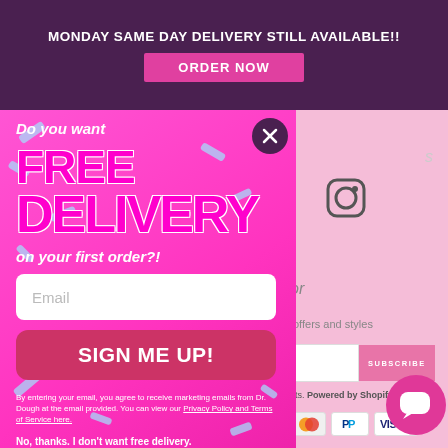MONDAY SAME DAY DELIVERY STILL AVAILABLE!!
ORDER NOW
Do you want FREE DELIVERY on your first order?!
Email
SIGN ME UP!
By entering your email, you agree to receive marketing emails from Dr. Dough at the email provided. You can view our Privacy Policy and Terms of Service here.
No, thanks. I don't want free delivery.
offers and styles
SUBSCRIBE
Powered by Shopify
[Figure (screenshot): Instagram icon (circle with rounded square border)]
[Figure (other): Chat bubble icon in pink circle]
[Figure (other): Payment icons: orange dot, PayPal, Visa]